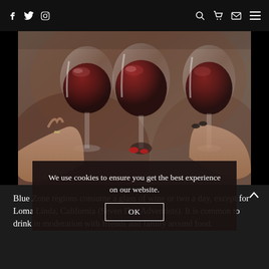f  twitter  instagram  [search] [cart] [email] [menu]
[Figure (photo): Hands clinking wine glasses filled with red wine, close-up shot with blurred background]
We use cookies to ensure you get the best experience on our website.
Blue Zone regions consume a glass of wine or two a day, except for Loma Linda, California (Seven Day Adventists). It is common to drink in moderation with friends and family around food.